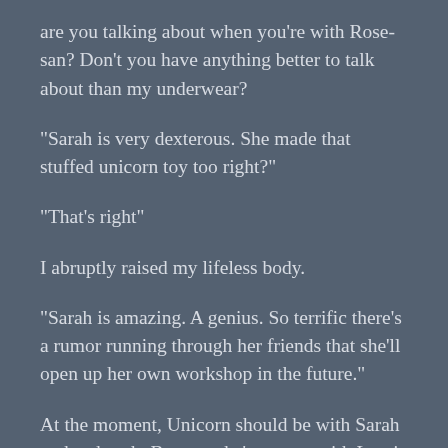are you talking about when you’re with Rose-san? Don’t you have anything better to talk about than my underwear?
“Sarah is very dexterous. She made that stuffed unicorn toy too right?”
“That’s right”
I abruptly raised my lifeless body.
“Sarah is amazing. A genius. So terrific there’s a rumor running through her friends that she’ll open up her own workshop in the future.”
At the moment, Unicorn should be with Sarah at the church. By now she’s met up with Lapris and the both of them and maybe the others too.